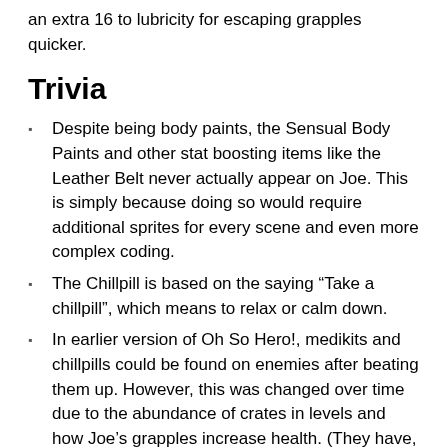an extra 16 to lubricity for escaping grapples quicker.
Trivia
Despite being body paints, the Sensual Body Paints and other stat boosting items like the Leather Belt never actually appear on Joe. This is simply because doing so would require additional sprites for every scene and even more complex coding.
The Chillpill is based on the saying “Take a chillpill”, which means to relax or calm down.
In earlier version of Oh So Hero!, medikits and chillpills could be found on enemies after beating them up. However, this was changed over time due to the abundance of crates in levels and how Joe’s grapples increase health. (They have, however, been re-added if the player “swoons” enemies.)
Zenni may be named after the Zeni. A form of currency in the Dragon Ball Series.